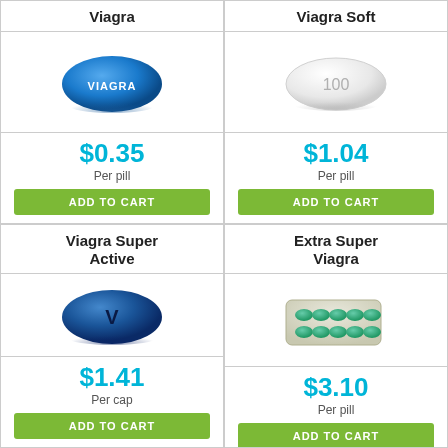Viagra
[Figure (illustration): Blue oval Viagra pill with 'VIAGRA' text embossed]
$0.35
Per pill
ADD TO CART
Viagra Soft
[Figure (illustration): White oval soft pill with '100' embossed]
$1.04
Per pill
ADD TO CART
Viagra Super Active
[Figure (illustration): Dark blue oval pill with 'V' embossed]
$1.41
Per cap
ADD TO CART
Extra Super Viagra
[Figure (illustration): Blister pack of teal/green capsules]
$3.10
Per pill
ADD TO CART